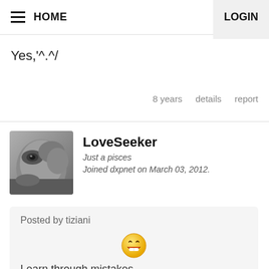HOME   LOGIN
Yes,'^.^/
8 years   details   report
LoveSeeker
Just a pisces
Joined dxpnet on March 03, 2012.
Posted by tiziani
Learn through mistakes